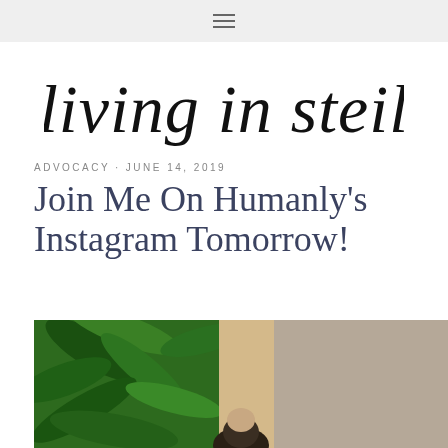≡ (navigation menu icon)
[Figure (logo): living in steil cursive script logo]
ADVOCACY · JUNE 14, 2019
Join Me On Humanly's Instagram Tomorrow!
[Figure (photo): Photo showing green tropical leaves on the left and a person partially visible at the bottom center, with a neutral/beige wall background on the right]